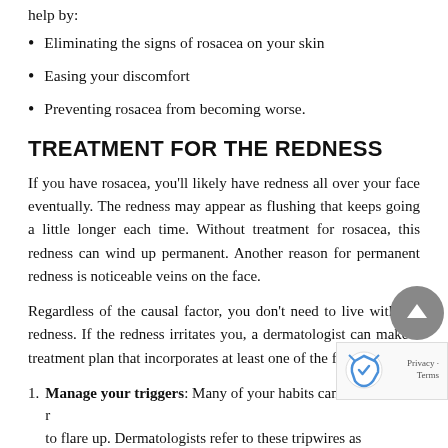help by:
Eliminating the signs of rosacea on your skin
Easing your discomfort
Preventing rosacea from becoming worse.
TREATMENT FOR THE REDNESS
If you have rosacea, you'll likely have redness all over your face eventually. The redness may appear as flushing that keeps going a little longer each time. Without treatment for rosacea, this redness can wind up permanent. Another reason for permanent redness is noticeable veins on the face.
Regardless of the causal factor, you don't need to live with the redness. If the redness irritates you, a dermatologist can make a treatment plan that incorporates at least one of the following.
Manage your triggers: Many of your habits can cause rosacea to flare up. Dermatologists refer to these tripwires as "triggers." Common triggers include staying in a hot environment, letting the cold wind blow directly on your face, &